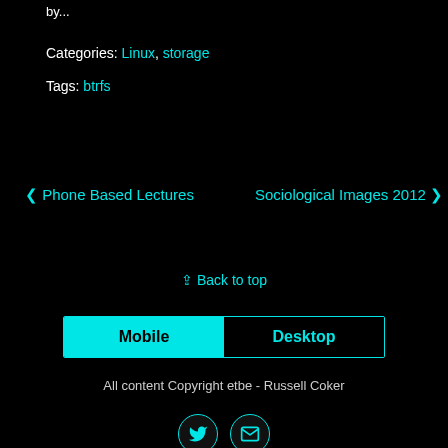by...
Categories: Linux, storage
Tags: btrfs
❮ Phone Based Lectures
Sociological Images 2012 ❯
⇪ Back to top
Mobile | Desktop
All content Copyright etbe - Russell Coker